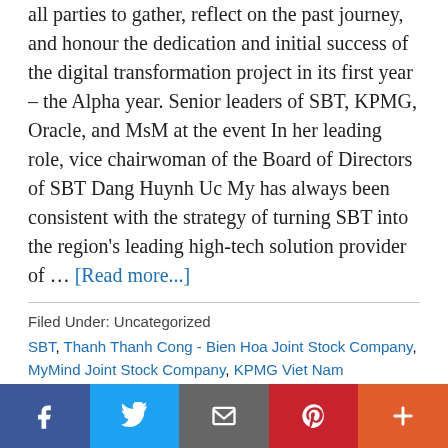all parties to gather, reflect on the past journey, and honour the dedication and initial success of the digital transformation project in its first year – the Alpha year. Senior leaders of SBT, KPMG, Oracle, and MsM at the event In her leading role, vice chairwoman of the Board of Directors of SBT Dang Huynh Uc My has always been consistent with the strategy of turning SBT into the region's leading high-tech solution provider of … [Read more...]
Filed Under: Uncategorized
SBT, Thanh Thanh Cong - Bien Hoa Joint Stock Company, MyMind Joint Stock Company, KPMG Viet Nam